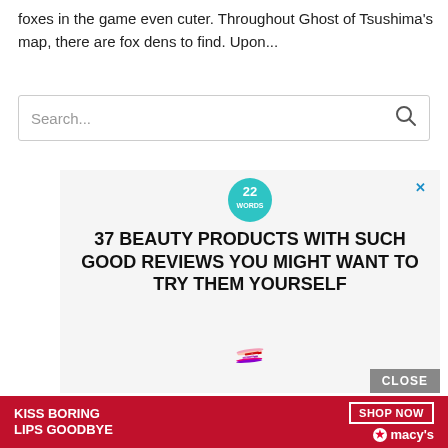foxes in the game even cuter. Throughout Ghost of Tsushima's map, there are fox dens to find. Upon...
[Figure (screenshot): Search bar input field with placeholder text 'Search...' and a magnifying glass icon on the right]
[Figure (infographic): Advertisement from '22 Words' promoting '37 Beauty Products With Such Good Reviews You Might Want To Try Them Yourself' with image of colorful lip gloss products stacked together. Has a close (X) button and a CLOSE button at bottom right.]
[Figure (infographic): Bottom banner advertisement: 'KISS BORING LIPS GOODBYE' with a woman's face wearing red lipstick. SHOP NOW button and Macy's star logo on the right side, on a red background.]